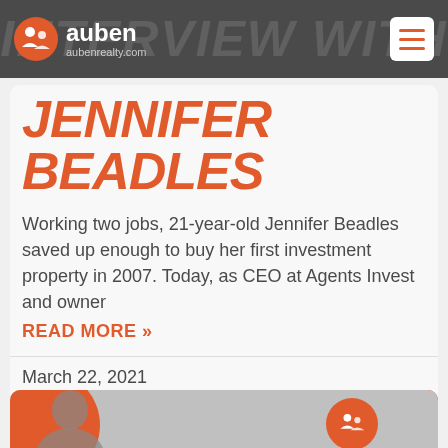INTERVIEW WITH — auben aubenrealty.com
JENNIFER BEADLES
Working two jobs, 21-year-old Jennifer Beadles saved up enough to buy her first investment property in 2007. Today, as CEO at Agents Invest and owner
READ MORE »
March 22, 2021
[Figure (photo): Bottom card preview with orange circular background and person silhouette, auben logo badge on right]